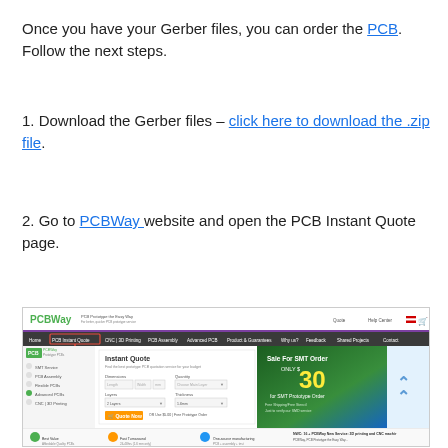Once you have your Gerber files, you can order the PCB. Follow the next steps.
1. Download the Gerber files – click here to download the .zip file.
2. Go to PCBWay website and open the PCB Instant Quote page.
[Figure (screenshot): Screenshot of PCBWay website showing the PCB Instant Quote page with a form for dimensions, quantity, layers, and thickness. A red box highlights the 'PCB Instant Quote' navigation tab. A promotional banner on the right shows 'Sale For SMT Order ONLY $30 for SMT Prototype Order'.]